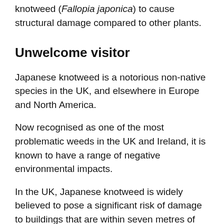knotweed (Fallopia japonica) to cause structural damage compared to other plants.
Unwelcome visitor
Japanese knotweed is a notorious non-native species in the UK, and elsewhere in Europe and North America.
Now recognised as one of the most problematic weeds in the UK and Ireland, it is known to have a range of negative environmental impacts.
In the UK, Japanese knotweed is widely believed to pose a significant risk of damage to buildings that are within seven metres of the above-ground portions of the plant – the so-called 'seven metre